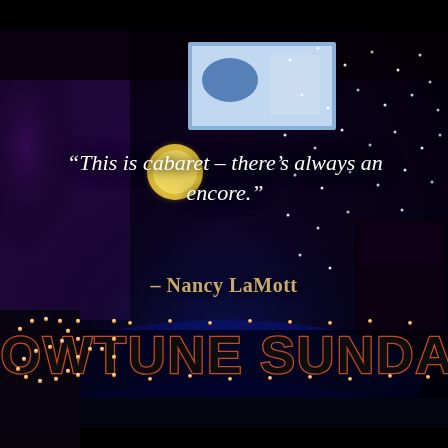[Figure (photo): Dark cabaret venue interior with twinkling star lights on backdrop, a screen/projector visible at top center, purple and blue stage lighting, a round yellow/gold light on the left, and a piano silhouette on the right side.]
“This is cabaret – there’s always an encore.”
– Nancy LaMott
SHOWTUNE SUNDAYS